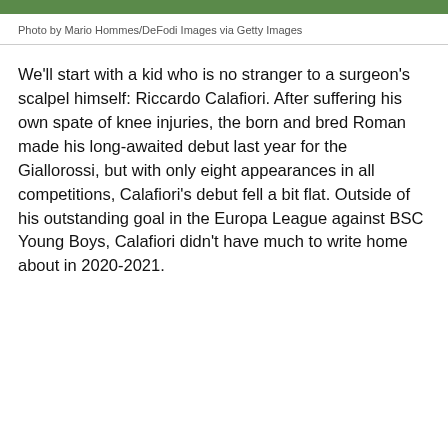[Figure (photo): Green sports field/pitch photo strip at the top of the page]
Photo by Mario Hommes/DeFodi Images via Getty Images
We'll start with a kid who is no stranger to a surgeon's scalpel himself: Riccardo Calafiori. After suffering his own spate of knee injuries, the born and bred Roman made his long-awaited debut last year for the Giallorossi, but with only eight appearances in all competitions, Calafiori's debut fell a bit flat. Outside of his outstanding goal in the Europa League against BSC Young Boys, Calafiori didn't have much to write home about in 2020-2021.